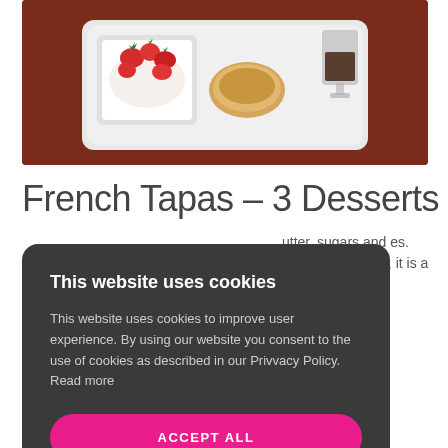[Figure (photo): A white rectangular tray with three desserts: a dish of fresh strawberries with cream, a small madeleine or biscuit, and a glass of dark sauce or beverage, placed on a dark red/brown surface.]
French Tapas – 3 Desserts
utter, sugars and es. Add the e careful, it is a tablespoon n. ...
This website uses cookies

This website uses cookies to improve user experience. By using our website you consent to the use of cookies as described in our Privvacy Policy. Read more

ACCEPT ALL